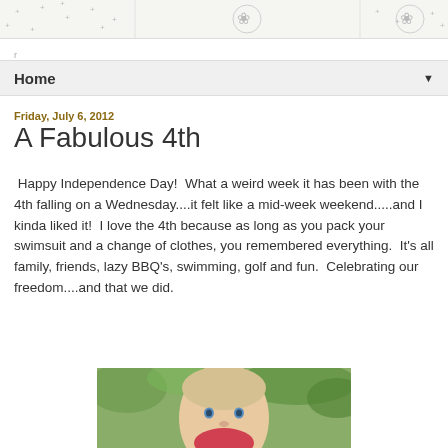[decorative header with pattern tiles]
r
Home ▼
Friday, July 6, 2012
A Fabulous 4th
Happy Independence Day!  What a weird week it has been with the 4th falling on a Wednesday....it felt like a mid-week weekend.....and I kinda liked it!  I love the 4th because as long as you pack your swimsuit and a change of clothes, you remembered everything.  It's all family, friends, lazy BBQ's, swimming, golf and fun.  Celebrating our freedom....and that we did.
[Figure (photo): Photo of a young toddler/baby with light hair and blue eyes, outdoors with green foliage in background]